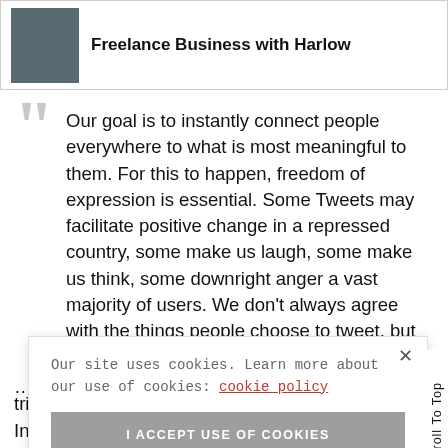Freelance Business with Harlow
Our goal is to instantly connect people everywhere to what is most meaningful to them. For this to happen, freedom of expression is essential. Some Tweets may facilitate positive change in a repressed country, some make us laugh, some make us think, some downright anger a vast majority of users. We don't always agree with the things people choose to tweet, but we keep the … ny view
Our site uses cookies. Learn more about our use of cookies: cookie policy
I ACCEPT USE OF COOKIES
tribute any information about the Egyptian protests. In the past